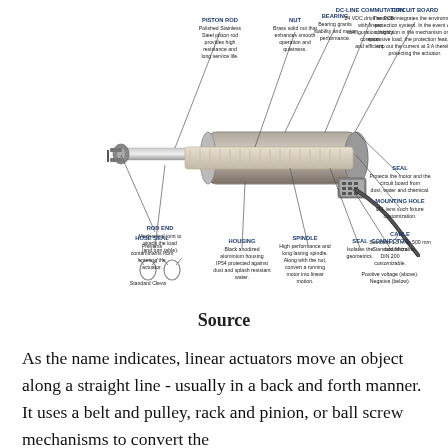[Figure (engineering-diagram): Labeled exploded/cutaway diagram of a linear actuator showing components: Piston Rod, Nut, Bearing, DC-Line Commutation, Circuit Board, Rod End, Seal, Mounting Hole, Cable, Hose Seal, Housing, Spindle, Seal, Connector, with descriptive text for each component and callout lines pointing to parts.]
Source
As the name indicates, linear actuators move an object along a straight line - usually in a back and forth manner. It uses a belt and pulley, rack and pinion, or ball screw mechanisms to convert the